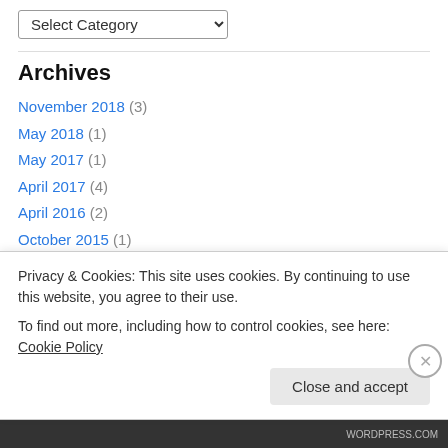[Figure (screenshot): A dropdown widget labeled 'Select Category' with a down-arrow chevron.]
Archives
November 2018 (3)
May 2018 (1)
May 2017 (1)
April 2017 (4)
April 2016 (2)
October 2015 (1)
August 2015 (2)
May 2015 (1)
Privacy & Cookies: This site uses cookies. By continuing to use this website, you agree to their use. To find out more, including how to control cookies, see here: Cookie Policy
Close and accept